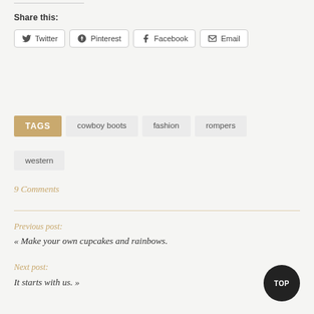Share this:
Twitter  Pinterest  Facebook  Email
TAGS  cowboy boots  fashion  rompers  western
9 Comments
Previous post:
« Make your own cupcakes and rainbows.
Next post:
It starts with us. »